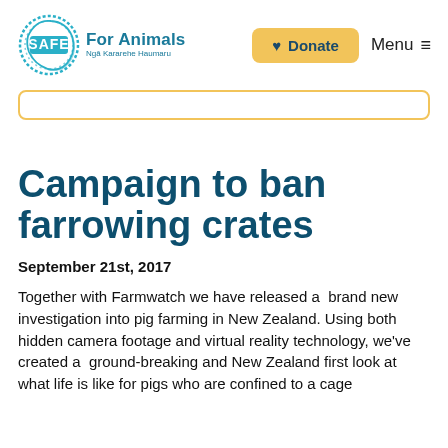SAFE For Animals Ngā Kararehe Haumaru | Donate | Menu
Campaign to ban farrowing crates
September 21st, 2017
Together with Farmwatch we have released a  brand new investigation into pig farming in New Zealand. Using both  hidden camera footage and virtual reality technology, we've created a  ground-breaking and New Zealand first look at what life is like for pigs who are confined to a cage